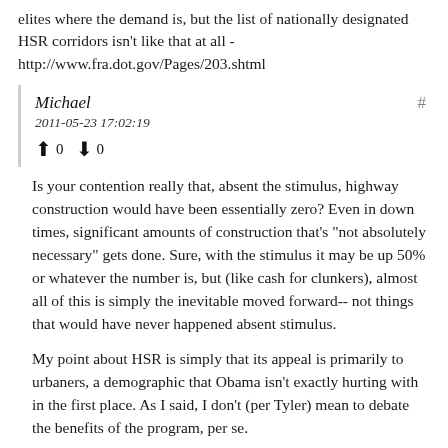elites where the demand is, but the list of nationally designated HSR corridors isn't like that at all - http://www.fra.dot.gov/Pages/203.shtml
Michael
2011-05-23 17:02:19
↑ 0 ↓ 0
Is your contention really that, absent the stimulus, highway construction would have been essentially zero? Even in down times, significant amounts of construction that's "not absolutely necessary" gets done. Sure, with the stimulus it may be up 50% or whatever the number is, but (like cash for clunkers), almost all of this is simply the inevitable moved forward-- not things that would have never happened absent stimulus.
My point about HSR is simply that its appeal is primarily to urbaners, a demographic that Obama isn't exactly hurting with in the first place. As I said, I don't (per Tyler) mean to debate the benefits of the program, per se.